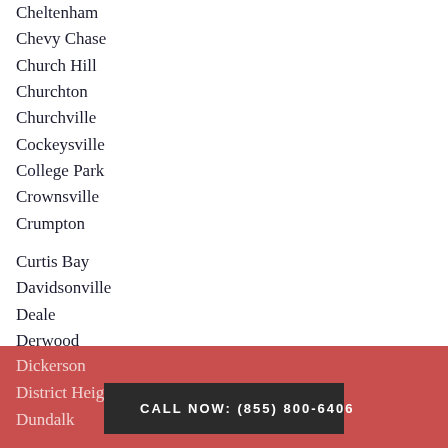Cheltenham
Chevy Chase
Church Hill
Churchton
Churchville
Cockeysville
College Park
Crownsville
Crumpton
Curtis Bay
Davidsonville
Deale
Derwood
Dickerson
District Heights
Dundalk
CALL NOW: (855) 800-6406